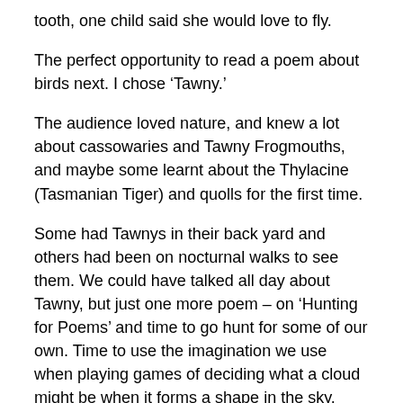tooth, one child said she would love to fly.
The perfect opportunity to read a poem about birds next.  I chose ‘Tawny.’
The audience loved nature, and knew a lot about cassowaries and Tawny Frogmouths, and maybe some learnt about the Thylacine (Tasmanian Tiger) and quolls for the first time.
Some had Tawnys in their back yard and others had been on nocturnal walks to see them.  We could have talked all day about Tawny, but just one more poem – on ‘Hunting for Poems’ and time to go hunt for some of our own. Time to use the imagination we use when playing games of deciding what a cloud might be when it forms a shape in the sky.